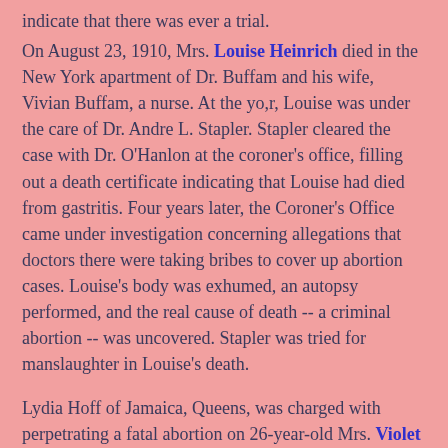indicate that there was ever a trial.
On August 23, 1910, Mrs. Louise Heinrich died in the New York apartment of Dr. Buffam and his wife, Vivian Buffam, a nurse. At the yo,r, Louise was under the care of Dr. Andre L. Stapler. Stapler cleared the case with Dr. O'Hanlon at the coroner's office, filling out a death certificate indicating that Louise had died from gastritis. Four years later, the Coroner's Office came under investigation concerning allegations that doctors there were taking bribes to cover up abortion cases. Louise's body was exhumed, an autopsy performed, and the real cause of death -- a criminal abortion -- was uncovered. Stapler was tried for manslaughter in Louise's death.
Lydia Hoff of Jamaica, Queens, was charged with perpetrating a fatal abortion on 26-year-old Mrs. Violet King on August 11, 1916. Violet, who died on August 23, left behind three children.
On August 23, 1927, 27-year-old Shellane Franklin, a Black woman, died at the scene of the crime from an abortion performed by Dr. Gordon Jackson and it...